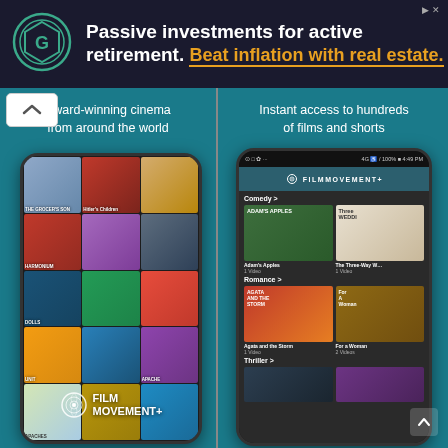[Figure (screenshot): Advertisement banner with dark background featuring a hexagonal logo, white bold text 'Passive investments for active retirement.' and gold text 'Beat inflation with real estate.' with gold underline]
[Figure (screenshot): Left panel: teal/blue background with white text 'Award-winning cinema from around the world' above a smartphone mockup showing film grid thumbnails including titles like The Grocer's Son, Hitler's Children, Harmonium, and Film Movement+ logo overlay]
[Figure (screenshot): Right panel: teal/blue background with white text 'Instant access to hundreds of films and shorts' above a smartphone mockup showing Film Movement+ app UI with Comedy genre (Adam's Apples, The Three-Way Wedding), Romance genre (Agata and the Storm, For a Woman), and Thriller section]